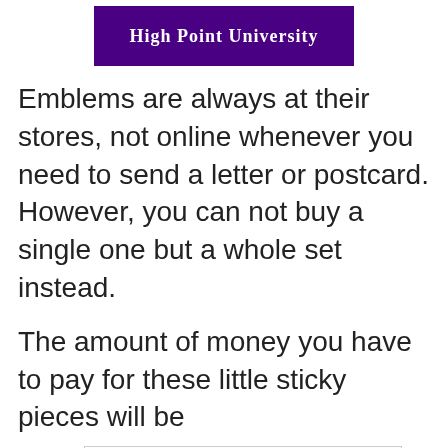[Figure (logo): High Point University banner with white text on dark purple background]
Emblems are always at their stores, not online whenever you need to send a letter or postcard. However, you can not buy a single one but a whole set instead.
The amount of money you have to pay for these little sticky pieces will be
[Figure (other): Petco advertisement: Need Pet Essentials Fast? Petco, with Petco logo and blue diamond arrow icon]